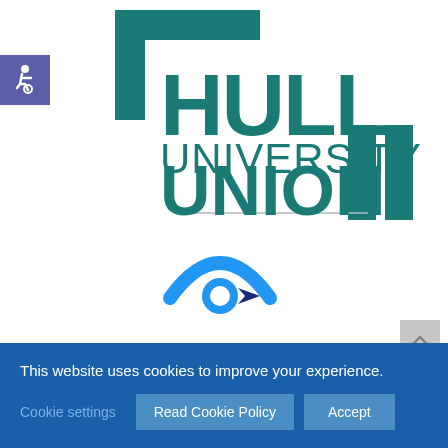[Figure (logo): Hull University Union logo with teal bracket/corner shapes and text HULL UNIVERSITY UNION]
[Figure (logo): Accessibility icon - wheelchair symbol on purple/indigo square background]
[Figure (logo): Partial eye/vision icon in blue and dark blue, partially visible at bottom center]
[Figure (other): Back to top grey button with upward chevron arrow, bottom right]
This website uses cookies to improve your experience.
Cookie settings
Read Cookie Policy
Accept